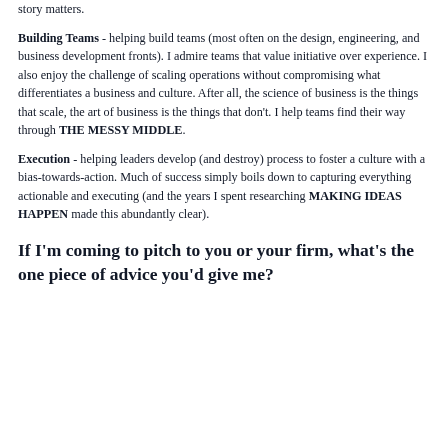story matters.
Building Teams - helping build teams (most often on the design, engineering, and business development fronts). I admire teams that value initiative over experience. I also enjoy the challenge of scaling operations without compromising what differentiates a business and culture. After all, the science of business is the things that scale, the art of business is the things that don't. I help teams find their way through THE MESSY MIDDLE.
Execution - helping leaders develop (and destroy) process to foster a culture with a bias-towards-action. Much of success simply boils down to capturing everything actionable and executing (and the years I spent researching MAKING IDEAS HAPPEN made this abundantly clear).
If I'm coming to pitch to you or your firm, what's the one piece of advice you'd give me?